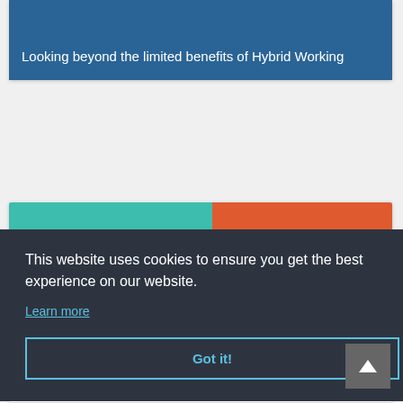[Figure (screenshot): Card with blue banner image at top]
Looking beyond the limited benefits of Hybrid Working
[Figure (illustration): Colorful flat illustration with teal and orange sections, white cloud/building shapes]
This website uses cookies to ensure you get the best experience on our website.
Learn more
Got it!